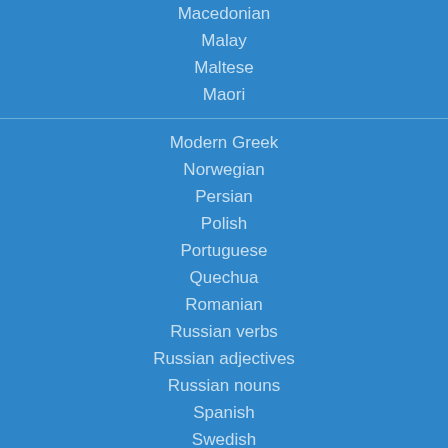Macedonian
Malay
Maltese
Maori
Modern Greek
Norwegian
Persian
Polish
Portuguese
Quechua
Romanian
Russian verbs
Russian adjectives
Russian nouns
Spanish
Swedish
Thai
Turkish
Vietnamese